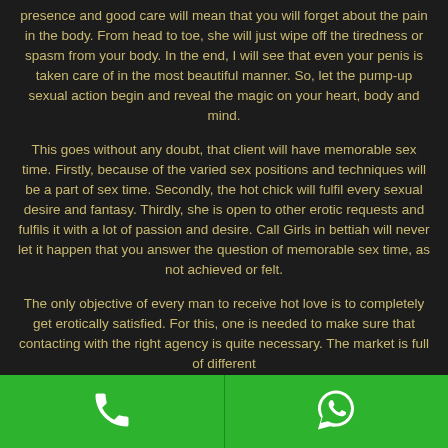presence and good care will mean that you will forget about the pain in the body. From head to toe, she will just wipe off the tiredness or spasm from your body. In the end, I will see that even your penis is taken care of in the most beautiful manner. So, let the pump-up sexual action begin and reveal the magic on your heart, body and mind.
This goes without any doubt, that client will have memorable sex time. Firstly, because of the varied sex positions and techniques will be a part of sex time. Secondly, the hot chick will fulfil every sexual desire and fantasy. Thirdly, she is open to other erotic requests and fulfils it with a lot of passion and desire. Call Girls in bettiah will never let it happen that you answer the question of memorable sex time, as not achieved or felt.
The only objective of every man to receive hot love is to completely get erotically satisfied. For this, one is needed to make sure that contacting with the right agency is quite necessary. The market is full of different
[Figure (other): Footer bar with two buttons: a phone call button on the left and a WhatsApp button on the right, both on a green background with white icons.]